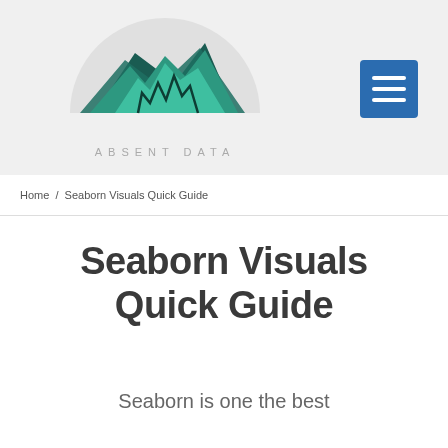[Figure (logo): Absent Data logo — a semicircular grey background with a mountain/letter-A graphic in dark teal and cyan, with 'ABSENT DATA' text beneath in spaced grey capitals]
Home / Seaborn Visuals Quick Guide
Seaborn Visuals Quick Guide
Seaborn is one the best